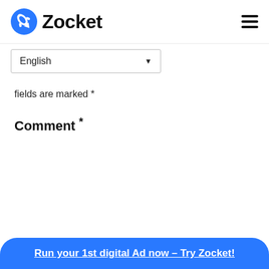[Figure (logo): Zocket logo with blue rocket circle icon and bold 'Zocket' text, plus hamburger menu icon on the right]
[Figure (screenshot): English language dropdown selector box]
fields are marked *
Comment *
[Figure (screenshot): Empty comment textarea input box with resize handle]
Name *
[Figure (screenshot): Partial name text input field (cut off at bottom)]
Run your 1st digital Ad now – Try Zocket!